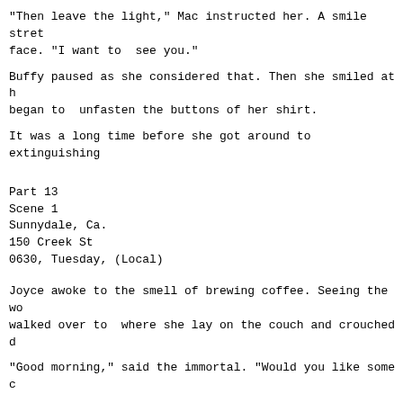"Then leave the light," Mac instructed her. A smile stret
face. "I want to  see you."
Buffy paused as she considered that. Then she smiled at h
began to  unfasten the buttons of her shirt.
It was a long time before she got around to extinguishing
Part 13
Scene 1
Sunnydale, Ca.
150 Creek St
0630, Tuesday, (Local)
Joyce awoke to the smell of brewing coffee. Seeing the wo
walked over to  where she lay on the couch and crouched d
"Good morning," said the immortal. "Would you like some c
"I think the smell of it is what woke me up," said Joyce
her head. She  hoisted herself up to a sitting position a
sleep from her eyes. The house was quiet.  After a minute
faint sounds coming from the kitchen. Smiling, Belle offe
and pulled Joyce to her feet.
Walking into the kitchen, Joyce discovered Joe and Thomas
process of  getting breakfast prepared. Joe held up a cot
Joyce's nod, filled it. She sat down  and Joe set the cup